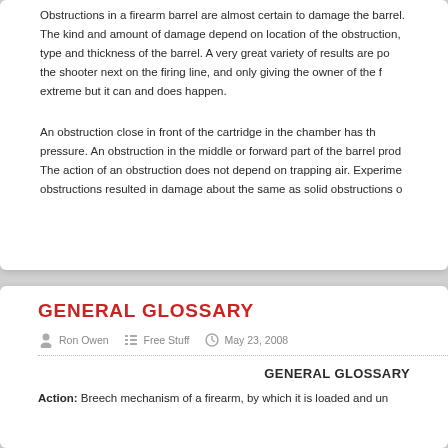Obstructions in a firearm barrel are almost certain to damage the barrel. The kind and amount of damage depend on location of the obstruction, type and thickness of the barrel. A very great variety of results are possible, the shooter next on the firing line, and only giving the owner of the firearm a fright extreme but it can and does happen.
An obstruction close in front of the cartridge in the chamber has the highest pressure. An obstruction in the middle or forward part of the barrel produces less. The action of an obstruction does not depend on trapping air. Experiments with hollow obstructions resulted in damage about the same as solid obstructions of the same size.
GENERAL GLOSSARY
Ron Owen   Free Stuff   May 23, 2008
GENERAL GLOSSARY
Action: Breech mechanism of a firearm, by which it is loaded and un...